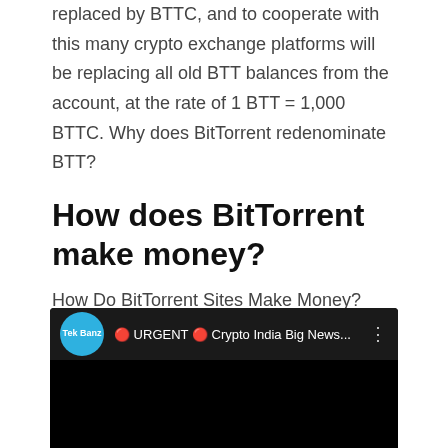replaced by BTTC, and to cooperate with this many crypto exchange platforms will be replacing all old BTT balances from the account, at the rate of 1 BTT = 1,000 BTTC. Why does BitTorrent redenominate BTT?
How does BitTorrent make money?
How Do BitTorrent Sites Make Money? BitTorrent sites act as hubs where Internet visitors download, share and search for torrent files. File hosts can make money through advertising revenue generated by the site. Others can make money by distributing malware.
[Figure (screenshot): YouTube-style video thumbnail with dark background. Shows channel icon 'Tek Banz' (blue circle with white text) and title '🔴 URGENT 🔴 Crypto India Big News...' with a vertical dots menu icon on the right.]